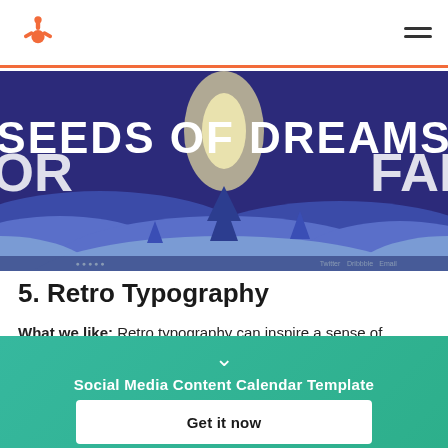HubSpot logo and navigation
[Figure (illustration): A stylized illustration with a deep blue/purple background showing rolling hills at night. Large white text reads 'SEEDS OF DREAMS'. Partial text 'OR' on the left and 'FAM' on the right. Plant/tree silhouettes and a glowing moon accent the scene. Small navigation links at the bottom of the image.]
5. Retro Typography
What we like: Retro typography can inspire a sense of
Social Media Content Calendar Template
Get it now